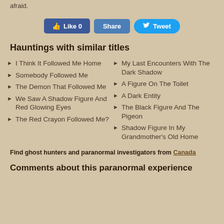afraid.
[Figure (other): Social sharing buttons: Like 0, Share, Tweet]
Hauntings with similar titles
I Think It Followed Me Home
My Last Encounters With The Dark Shadow
Somebody Followed Me
A Figure On The Toilet
The Demon That Followed Me
A Dark Entity
We Saw A Shadow Figure And Red Glowing Eyes
The Black Figure And The Pigeon
The Red Crayon Followed Me?
Shadow Figure In My Grandmother's Old Home
Find ghost hunters and paranormal investigators from Canada
Comments about this paranormal experience